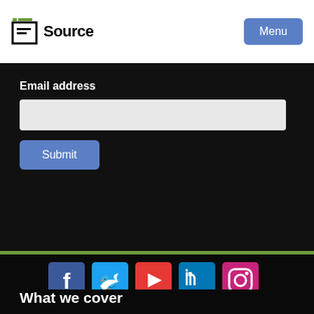E Source | Menu
Email address
[Figure (screenshot): Email address input field (text box)]
Submit
[Figure (infographic): Social media icon buttons: Facebook, Twitter, YouTube, LinkedIn, Instagram]
What we cover